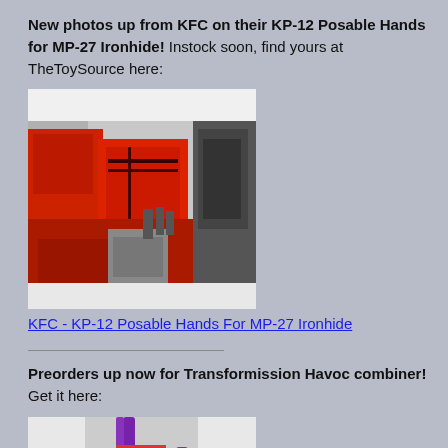New photos up from KFC on their KP-12 Posable Hands for MP-27 Ironhide! Instock soon, find yours at TheToySource here:
[Figure (photo): Photo of KFC KP-12 Posable Hands accessory for MP-27 Ironhide Transformers figure, showing red mechanical arm and articulated grey hand/fingers detail.]
KFC - KP-12 Posable Hands For MP-27 Ironhide
Preorders up now for Transformission Havoc combiner! Get it here:
[Figure (photo): Photo of Transformission Havoc combiner robot figure, showing a red and white robot with purple weapon/arm and dark lower body.]